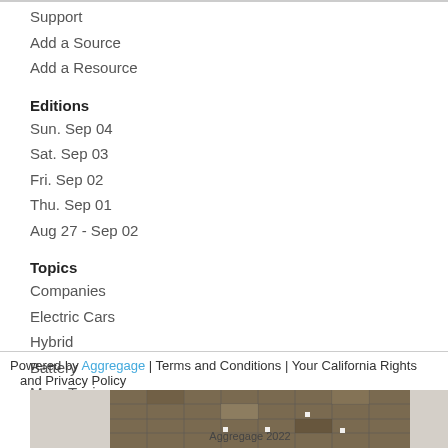Support
Add a Source
Add a Resource
Editions
Sun. Sep 04
Sat. Sep 03
Fri. Sep 02
Thu. Sep 01
Aug 27 - Sep 02
Topics
Companies
Electric Cars
Hybrid
Battery
More Topics >
Powered by Aggregage | Terms and Conditions | Your California Rights and Privacy Policy
Aggregage 2022
[Figure (photo): Aerial map/satellite image thumbnail]